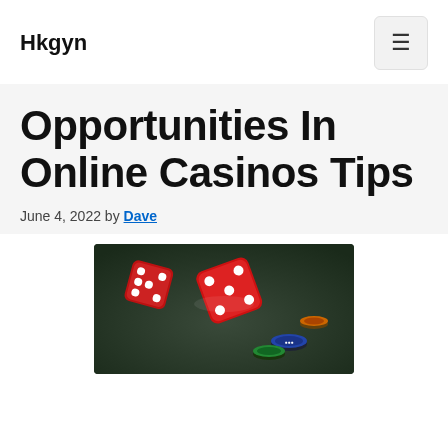Hkgyn
Opportunities In Online Casinos Tips
June 4, 2022 by Dave
[Figure (photo): Red and white dice rolling on a dark casino table surface with colorful casino chips visible]